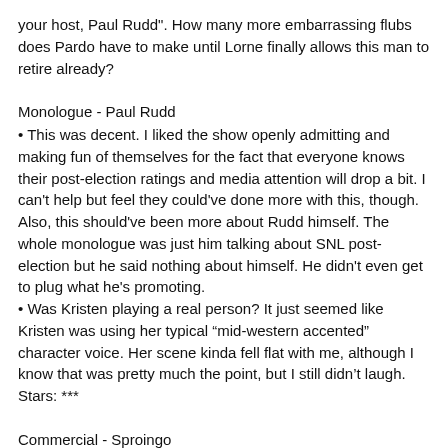your host, Paul Rudd". How many more embarrassing flubs does Pardo have to make until Lorne finally allows this man to retire already?
Monologue - Paul Rudd
This was decent. I liked the show openly admitting and making fun of themselves for the fact that everyone knows their post-election ratings and media attention will drop a bit. I can't help but feel they could've done more with this, though. Also, this should've been more about Rudd himself. The whole monologue was just him talking about SNL post-election but he said nothing about himself. He didn't even get to plug what he's promoting.
Was Kristen playing a real person? It just seemed like Kristen was using her typical “mid-western accented” character voice. Her scene kinda fell flat with me, although I know that was pretty much the point, but I still didn’t laugh. Stars: ***
Commercial - Sproingo
Why does, like, every commercial this season have to star Kristen and Jason as a couple and inside a kitchen? Jar